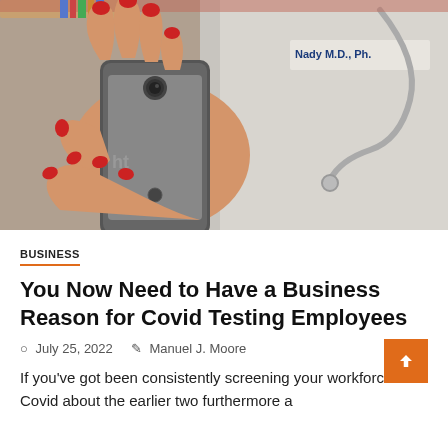[Figure (photo): A person with red-painted fingernails wearing a white medical coat with a stethoscope, holding an HTC smartphone.]
BUSINESS
You Now Need to Have a Business Reason for Covid Testing Employees
July 25, 2022   Manuel J. Moore
If you've got been consistently screening your workforce for Covid about the earlier two furthermore a